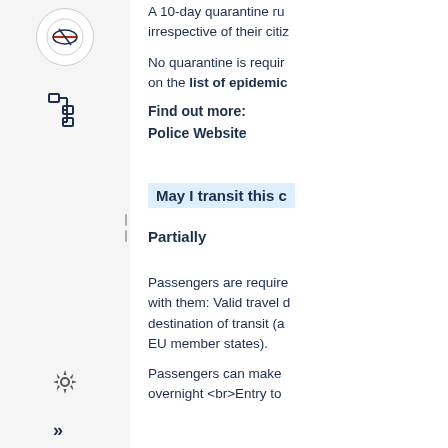A 10-day quarantine rule applies irrespective of their citizenship.
No quarantine is required for passengers on the list of epidemic-safe countries.
Find out more:
Police Website
May I transit this country?
Partially
Passengers are required to carry with them: Valid travel documents, destination of transit (also EU member states).
Passengers can make overnight <br>Entry to